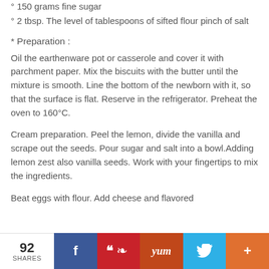° 150 grams fine sugar
° 2 tbsp. The level of tablespoons of sifted flour pinch of salt
* Preparation :
Oil the earthenware pot or casserole and cover it with parchment paper. Mix the biscuits with the butter until the mixture is smooth. Line the bottom of the newborn with it, so that the surface is flat. Reserve in the refrigerator. Preheat the oven to 160°C.
Cream preparation. Peel the lemon, divide the vanilla and scrape out the seeds. Pour sugar and salt into a bowl.Adding lemon zest also vanilla seeds. Work with your fingertips to mix the ingredients.
Beat eggs with flour. Add cheese and flavored
92 SHARES | Facebook | Pinterest | Yum | Twitter | +